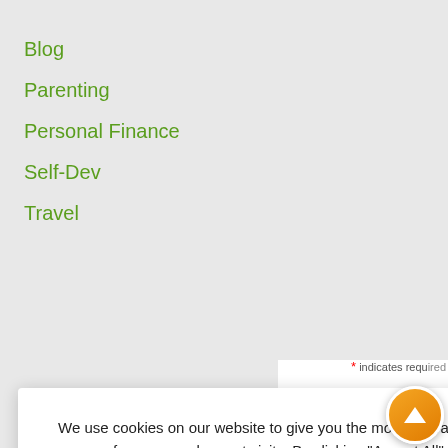Blog
Parenting
Personal Finance
Self-Dev
Travel
We use cookies on our website to give you the most relevant experience by remembering your preferences and repeat visits. By clicking "Accept All", you consent to the use of ALL the cookies. However, you may visit "Cookie Settings" to provide a controlled consent.
Cookie Settings  Accept All
* indicates required